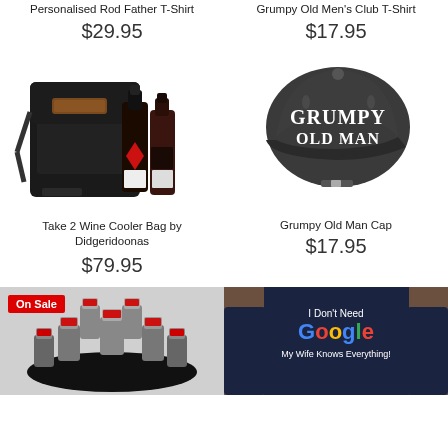Personalised Rod Father T-Shirt
$29.95
Grumpy Old Men's Club T-Shirt
$17.95
[Figure (photo): Black crossbody bag with leather patch and two wine bottles beside it]
Take 2 Wine Cooler Bag by Didgeridoonas
$79.95
[Figure (photo): Dark grey baseball cap with white embroidered text reading GRUMPY OLD MAN]
Grumpy Old Man Cap
$17.95
[Figure (photo): Shot glasses arranged in a ring on a black surface, with On Sale badge]
[Figure (photo): Person wearing navy t-shirt with Google parody text: I Don't Need Google My Wife Knows Everything!]